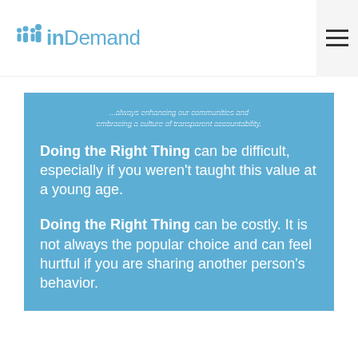InDemand
...always enhancing our communities and embracing a culture of transparent accountability.
Doing the Right Thing can be difficult, especially if you weren't taught this value at a young age.
Doing the Right Thing can be costly. It is not always the popular choice and can feel hurtful if you are sharing another person's behavior.
With technology, we have the ability to "catfish," which is when you pretend to be someone else to punk or fool others. We even have apps that can hack your location to make it look like you're on the other side of the world.